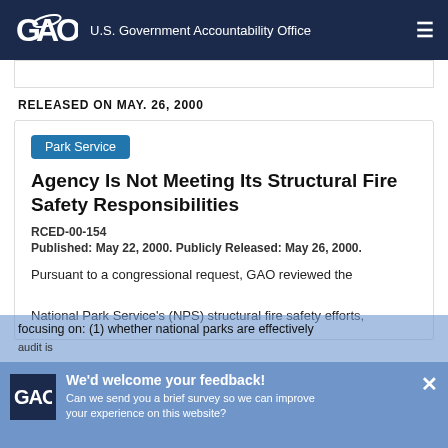GAO — U.S. Government Accountability Office
RELEASED ON MAY. 26, 2000
Park Service
Agency Is Not Meeting Its Structural Fire Safety Responsibilities
RCED-00-154
Published: May 22, 2000. Publicly Released: May 26, 2000.
Pursuant to a congressional request, GAO reviewed the National Park Service's (NPS) structural fire safety efforts, focusing on: (1) whether national parks are effectively ...
We'd welcome your feedback! Can we send you a brief survey so we can improve your experience on this website?